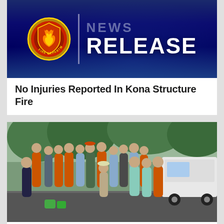[Figure (photo): Fire department news release banner with circular badge logo on dark blue gradient background, with 'NEWS RELEASE' text in white]
No Injuries Reported In Kona Structure Fire
[Figure (photo): Group photo of approximately 18 volunteers standing outdoors in a wooded/rainy setting, wearing orange, blue, and camouflage clothing]
National Park Volunteers Earn Prestigious Service Awards